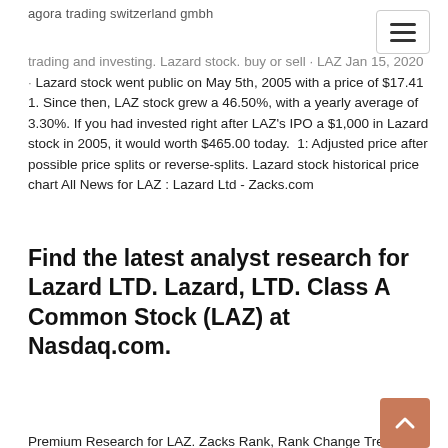agora trading switzerland gmbh
trading and investing. Lazard stock. buy or sell · LAZ Jan 15, 2020 · Lazard stock went public on May 5th, 2005 with a price of $17.41 1. Since then, LAZ stock grew a 46.50%, with a yearly average of 3.30%. If you had invested right after LAZ's IPO a $1,000 in Lazard stock in 2005, it would worth $465.00 today. 1: Adjusted price after possible price splits or reverse-splits. Lazard stock historical price chart All News for LAZ : Lazard Ltd - Zacks.com
Find the latest analyst research for Lazard LTD. Lazard, LTD. Class A Common Stock (LAZ) at Nasdaq.com.
Premium Research for LAZ. Zacks Rank, Rank Change Trend Hold 3. Zacks Industry Rank · Bottom 23%  5 days ago Stock Price Forecast for LAZ Lazard Ltd hold open conversation...